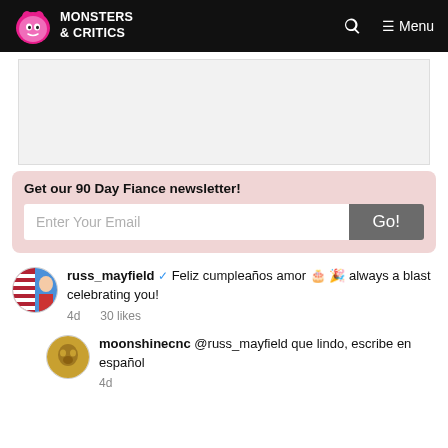Monsters & Critics — Menu
[Figure (other): Advertisement placeholder area (gray rectangle)]
Get our 90 Day Fiance newsletter!
russ_mayfield ✔ Feliz cumpleaños amor 🎂 🎉 always a blast celebrating you!
4d   30 likes
moonshinecnc @russ_mayfield que lindo, escribe en español
4d